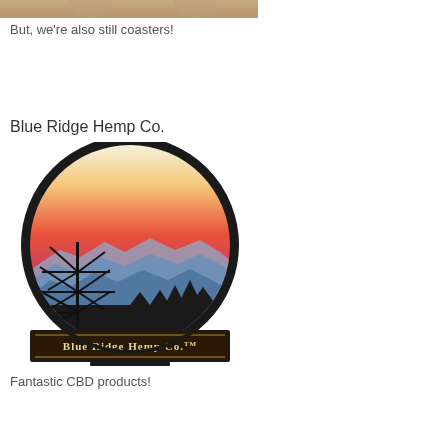[Figure (photo): Partial cropped photo at top — appears to be a historical portrait image, beige/tan tones]
But, we're also still coasters!
Blue Ridge Hemp Co.
[Figure (logo): Blue Ridge Hemp Co. logo — circular badge with sunset sky (cream to red to orange gradient at top), layered blue mountain ridges in middle, dark silhouette of trees and hemp plant at bottom, black banner at base reading 'Blue Ridge Hemp Co.' with TM mark]
Fantastic CBD products!